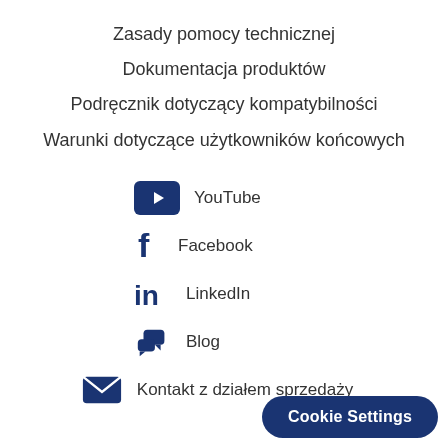Zasady pomocy technicznej
Dokumentacja produktów
Podręcznik dotyczący kompatybilności
Warunki dotyczące użytkowników końcowych
[Figure (logo): YouTube icon (dark blue rounded rectangle with play triangle)]
YouTube
[Figure (logo): Facebook icon (dark blue stylized f)]
Facebook
[Figure (logo): LinkedIn icon (dark blue 'in' letters)]
LinkedIn
[Figure (logo): Blog icon (dark blue speech bubbles)]
Blog
[Figure (logo): Email icon (dark blue envelope)]
Kontakt z działem sprzedaży
Cookie Settings